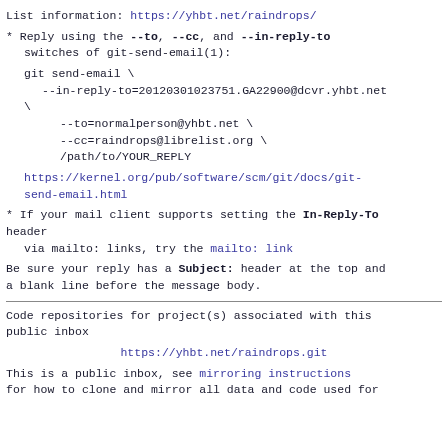List information: https://yhbt.net/raindrops/
* Reply using the --to, --cc, and --in-reply-to switches of git-send-email(1):
git send-email \
    --in-reply-to=20120301023751.GA22900@dcvr.yhbt.net \
    --to=normalperson@yhbt.net \
    --cc=raindrops@librelist.org \
    /path/to/YOUR_REPLY
https://kernel.org/pub/software/scm/git/docs/git-send-email.html
* If your mail client supports setting the In-Reply-To header via mailto: links, try the mailto: link
Be sure your reply has a Subject: header at the top and a blank line before the message body.
Code repositories for project(s) associated with this public inbox
https://yhbt.net/raindrops.git
This is a public inbox, see mirroring instructions for how to clone and mirror all data and code used for